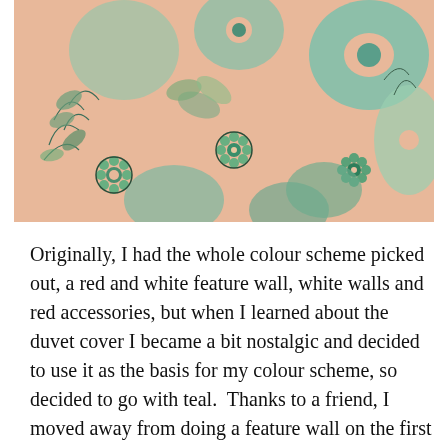[Figure (photo): Close-up photo of a floral fabric with a peach/salmon background printed with teal, green, and sage flowers, daisy-like blooms, large rounded petals, and leafy botanical outlines in various shades of green.]
Originally, I had the whole colour scheme picked out, a red and white feature wall, white walls and red accessories, but when I learned about the duvet cover I became a bit nostalgic and decided to use it as the basis for my colour scheme, so decided to go with teal.  Thanks to a friend, I moved away from doing a feature wall on the first choice feature area and it itself...